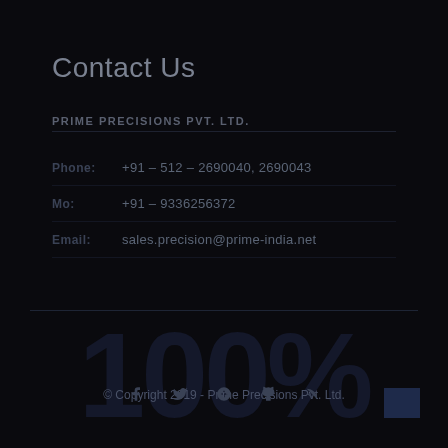Contact Us
PRIME PRECISIONS PVT. LTD.
Phone: +91 – 512 – 2690040, 2690043
Mo: +91 – 9336256372
Email: sales.precision@prime-india.net
[Figure (other): Large watermark '100%' text in dark overlay]
© Copyright 2019 - Prime Precisions Pvt. Ltd.
Social icons: Facebook, Twitter, Google+, GitHub, RSS